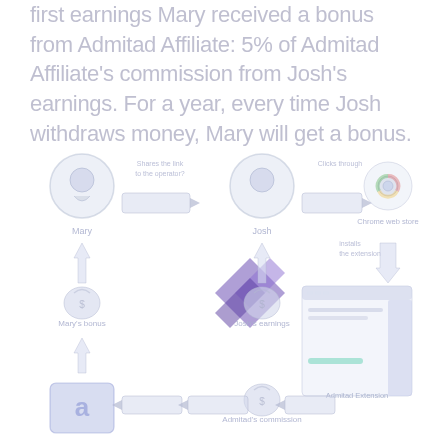first earnings Mary received a bonus from Admitad Affiliate: 5% of Admitad Affiliate's commission from Josh's earnings. For a year, every time Josh withdraws money, Mary will get a bonus.
[Figure (flowchart): Flowchart showing Mary sharing a link to Josh, Josh clicking through to Chrome Web Store, installing the extension, generating Josh's earnings, Admitad's commission flowing back, and Mary receiving a bonus. Central element is the Admitad purple logo/chevron.]